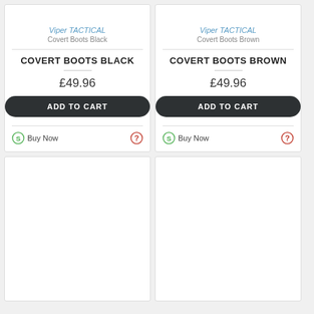Viper TACTICAL
Covert Boots Black
COVERT BOOTS BLACK
£49.96
ADD TO CART
Buy Now
Viper TACTICAL
Covert Boots Brown
COVERT BOOTS BROWN
£49.96
ADD TO CART
Buy Now